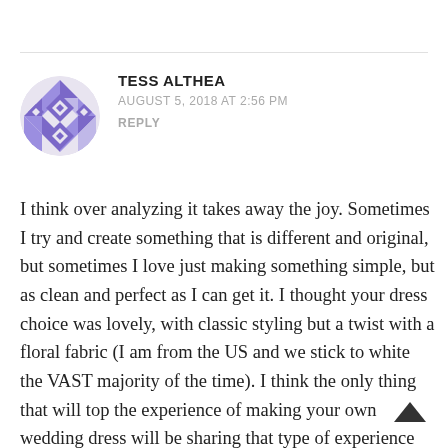[Figure (illustration): Circular avatar with a geometric quilt/mosaic pattern in purple and white (triangles, diamonds, squares arranged in a symmetrical pattern).]
TESS ALTHEA
AUGUST 5, 2018 AT 2:56 PM
REPLY
I think over analyzing it takes away the joy. Sometimes I try and create something that is different and original, but sometimes I love just making something simple, but as clean and perfect as I can get it. I thought your dress choice was lovely, with classic styling but a twist with a floral fabric (I am from the US and we stick to white the VAST majority of the time). I think the only thing that will top the experience of making your own wedding dress will be sharing that type of experience with someone you love someday.